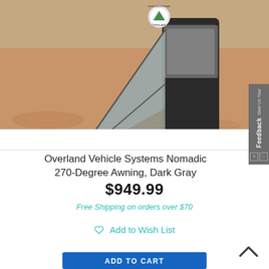[Figure (photo): Aerial view of a gray 270-degree awning attached to a dark SUV/truck on red desert terrain, with Overland Vehicle Systems logo badge visible in upper left corner]
Overland Vehicle Systems Nomadic 270-Degree Awning, Dark Gray
$949.99
Free Shipping on orders over $70
Add to Wish List
ADD TO CART